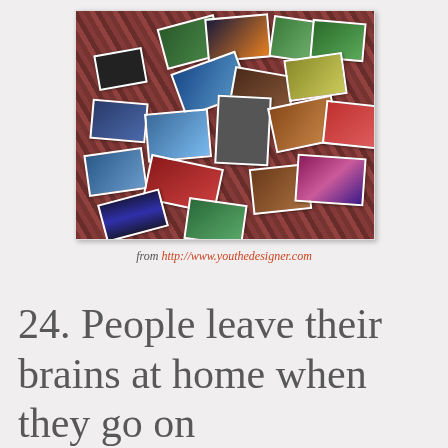[Figure (photo): A collection of scattered postcards and photographs laid out on a patterned carpet/rug, showing various travel scenes, landscapes, portraits, and city images.]
from http://www.youthedesigner.com
24. People leave their brains at home when they go on